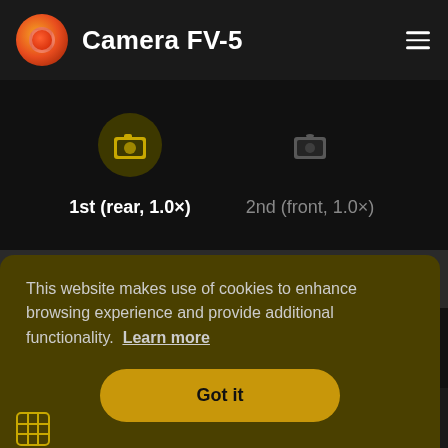Camera FV-5
1st (rear, 1.0×)
2nd (front, 1.0×)
This website makes use of cookies to enhance browsing experience and provide additional functionality.  Learn more
Got it